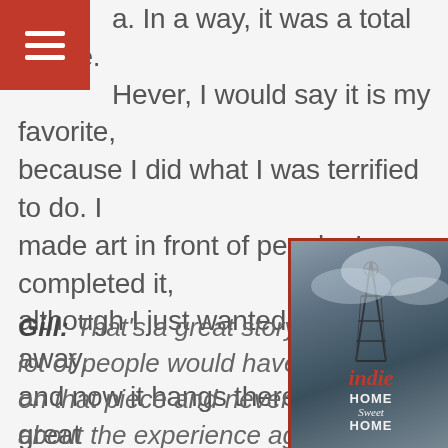[Figure (other): Red hamburger menu icon on dark red background, top-left corner]
a. In a way, it was a total failure. However, I would say it is my favorite, because I did what I was terrified to do. I made art in front of people. I completed it, although I just wanted to throw it away, and now it hangs there as if it is a great piece of art! I am honored that they felt it was worth to be framed and displayed.
Gill: That's a great story! I'm sure a lot of people would have given up on that piece and never talked about the experience again. On the other side, people
[Figure (photo): Photo of a framed picture with a tower/windmill silhouette against a cloudy sky, with 'Indie Home Sweet Home' branding text overlay in red and white]